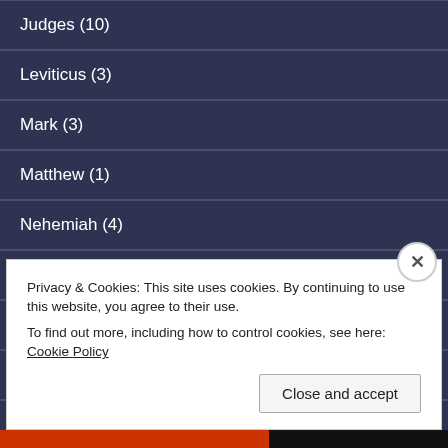Judges (10)
Leviticus (3)
Mark (3)
Matthew (1)
Nehemiah (4)
Numbers (4)
Proverbs (1)
Psalms (2)
Quotes (5)
Privacy & Cookies: This site uses cookies. By continuing to use this website, you agree to their use.
To find out more, including how to control cookies, see here: Cookie Policy
Close and accept